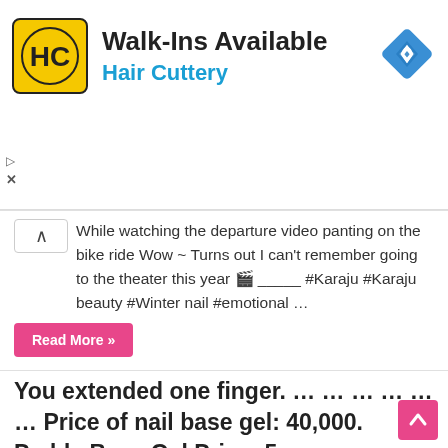[Figure (illustration): Hair Cuttery advertisement banner with HC logo (yellow/black), Walk-Ins Available headline, Hair Cuttery subtitle in blue, and blue diamond navigation icon on the right]
While watching the departure video panting on the bike ride Wow ~ Turns out I can't remember going to the theater this year 🎬 _____ #Karaju #Karaju beauty #Winter nail #emotional …
Read More »
You extended one finger. … … … … … … Price of nail base gel: 40,000. Paddy Base Gel Price: 5
October 28, 2020   Nail Design Ideas   0
[Figure (photo): Close-up photo of hands with dark navy/matte blue nail polish on almond-shaped nails]